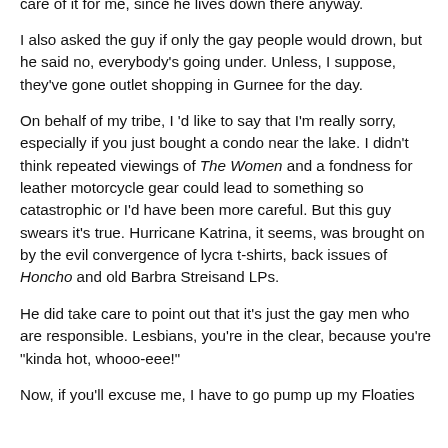understand vaguely that it involves a trip to the South Side. That's one heck of a train ride. Maybe I could get Aidan take care of it for me, since he lives down there anyway.
I also asked the guy if only the gay people would drown, but he said no, everybody's going under. Unless, I suppose, they've gone outlet shopping in Gurnee for the day.
On behalf of my tribe, I 'd like to say that I'm really sorry, especially if you just bought a condo near the lake. I didn't think repeated viewings of The Women and a fondness for leather motorcycle gear could lead to something so catastrophic or I'd have been more careful. But this guy swears it's true. Hurricane Katrina, it seems, was brought on by the evil convergence of lycra t-shirts, back issues of Honcho and old Barbra Streisand LPs.
He did take care to point out that it's just the gay men who are responsible. Lesbians, you're in the clear, because you're "kinda hot, whooo-eee!"
Now, if you'll excuse me, I have to go pump up my Floaties